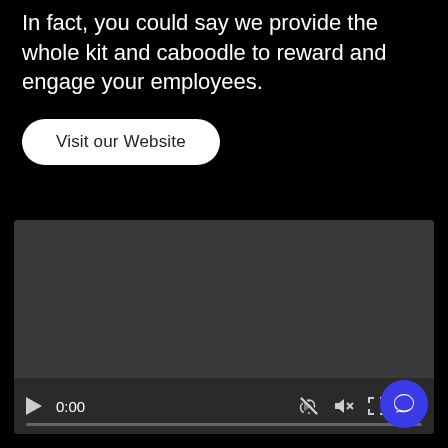In fact, you could say we provide the whole kit and caboodle to reward and engage your employees.
Visit our Website
[Figure (screenshot): Video player with dark background showing 0:00 timestamp, play button, mute icon, fullscreen icon, and options menu. A blue chat bubble icon appears in the bottom right corner.]